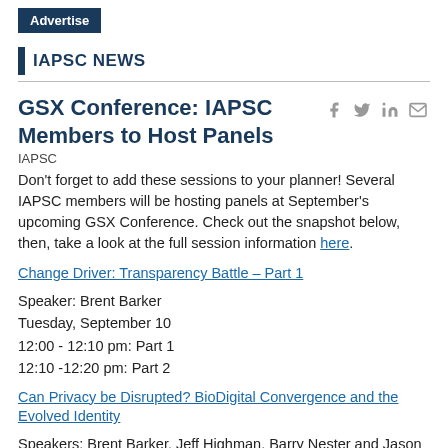Advertise
IAPSC NEWS
GSX Conference: IAPSC Members to Host Panels
IAPSC
Don't forget to add these sessions to your planner! Several IAPSC members will be hosting panels at September's upcoming GSX Conference. Check out the snapshot below, then, take a look at the full session information here.
Change Driver: Transparency Battle – Part 1
Speaker: Brent Barker
Tuesday, September 10
12:00 - 12:10 pm: Part 1
12:10 -12:20 pm: Part 2
Can Privacy be Disrupted? BioDigital Convergence and the Evolved Identity
Speakers: Brent Barker, Jeff Highman, Barry Nester and Jason